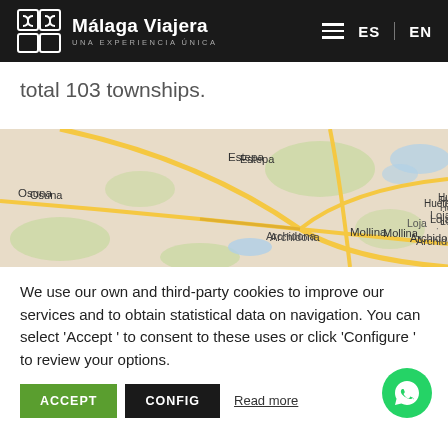Málaga Viajera — UNA EXPERIENCIA ÚNICA | ES | EN
total 103 townships.
[Figure (map): Google Maps view showing region around Málaga, Spain with town labels: Estepa, Osuna, Mollina, Archidona, Loja, Huétor-Tájar]
We use our own and third-party cookies to improve our services and to obtain statistical data on navigation. You can select 'Accept' to consent to these uses or click 'Configure' to review your options.
ACCEPT   CONFIG   Read more